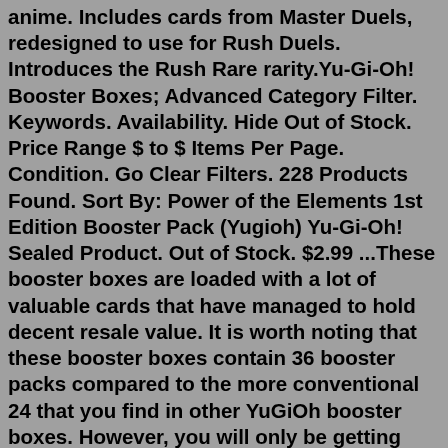anime. Includes cards from Master Duels, redesigned to use for Rush Duels. Introduces the Rush Rare rarity.Yu-Gi-Oh! Booster Boxes; Advanced Category Filter. Keywords. Availability. Hide Out of Stock. Price Range $ to $ Items Per Page. Condition. Go Clear Filters. 228 Products Found. Sort By: Power of the Elements 1st Edition Booster Pack (Yugioh) Yu-Gi-Oh! Sealed Product. Out of Stock. $2.99 ...These booster boxes are loaded with a lot of valuable cards that have managed to hold decent resale value. It is worth noting that these booster boxes contain 36 booster packs compared to the more conventional 24 that you find in other YuGiOh booster boxes. However, you will only be getting five cards in each pack.Yu-Gi-Oh! Hidden Arsenal 7 Knight of Stars Booster Box 1st Edition Factory Sealed TCG ... Yu-Gi-Oh Rise of Destiny Booster box 1st edition, English edition ad vertisement by 18xgifts Ad from shop 18xgifts 18xgifts From shop 18xgifts. 5 out of 5 stars (55) Sale Price $637.46 $ 637.46 $ 749.95 Original Price $749.95 ... Score 10. Yu-Gi-Oh! Jurras